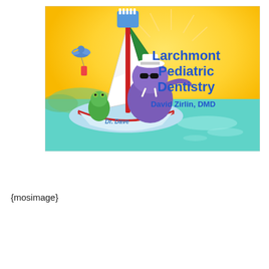[Figure (illustration): Larchmont Pediatric Dentistry logo illustration. A colorful cartoon scene showing a purple walrus wearing sunglasses and a sailor hat, riding in a sailboat named 'Dr. Dave'. The sailboat's mast is a giant toothbrush. A cartoon green frog/alligator is also in the boat. A blue bird flies overhead carrying a toothpaste tube. Background shows a sunny yellow sky with rays and a calm teal sea. Bold blue text reads 'Larchmont Pediatric Dentistry' and below it 'David Zirlin, DMD'.]
{mosimage}